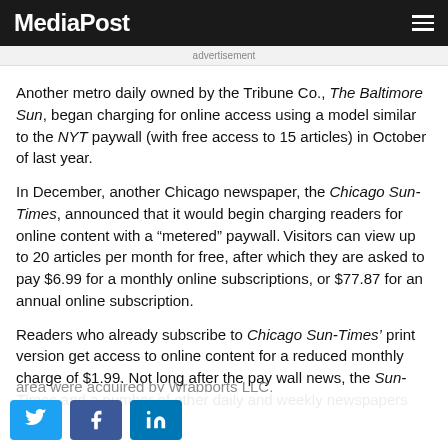MediaPost
advertisement
Another metro daily owned by the Tribune Co., The Baltimore Sun, began charging for online access using a model similar to the NYT paywall (with free access to 15 articles) in October of last year.
In December, another Chicago newspaper, the Chicago Sun-Times, announced that it would begin charging readers for online content with a “metered” paywall. Visitors can view up to 20 articles per month for free, after which they are asked to pay $6.99 for a monthly online subscriptions, or $77.87 for an annual online subscription.
Readers who already subscribe to Chicago Sun-Times’ print version get access to online content for a reduced monthly charge of $1.99. Not long after the pay wall news, the Sun-Times and a number of other daily and weekly newspapers
area were acquired by Wrapports LLC,
sourced by declining and circulation...